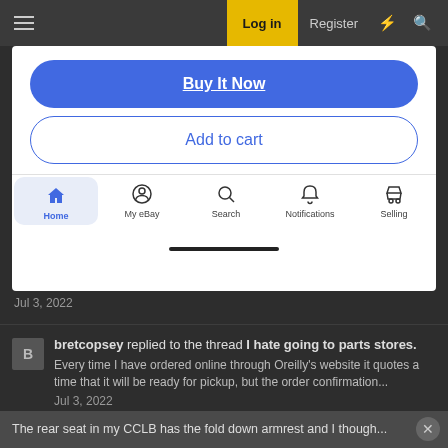Log in | Register
[Figure (screenshot): eBay mobile app screenshot showing 'Buy It Now' blue pill button, 'Add to cart' outlined pill button, and bottom navigation bar with icons: Home (active/highlighted), My eBay, Search, Notifications, Selling]
Jul 3, 2022
bretcopsey replied to the thread I hate going to parts stores.
Every time I have ordered online through Oreilly's website it quotes a time that it will be ready for pickup, but the order confirmation...
Jul 3, 2022
bretcopsey posted the thread Rod 60/40 bench with console exist? in OEM and Custom Interiors.
The rear seat in my CCLB has the fold down armrest and I though...